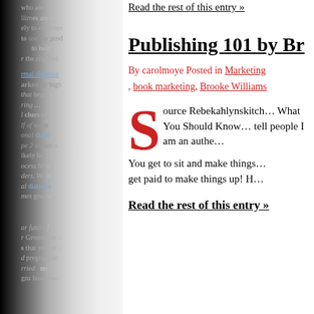[Figure (other): Left panel showing a book page with faded/shadowed text about diabetes topics, partially visible with gradient overlay from black on left to white on right]
Read the rest of this entry »
Publishing 101 by Br…
By carolmoye Posted in Marketing, book marketing, Brooke Williams
Source Rebekahlynskitch… What You Should Know… tell people I am an authe… You get to sit and make things… get paid to make things up! H…
Read the rest of this entry »